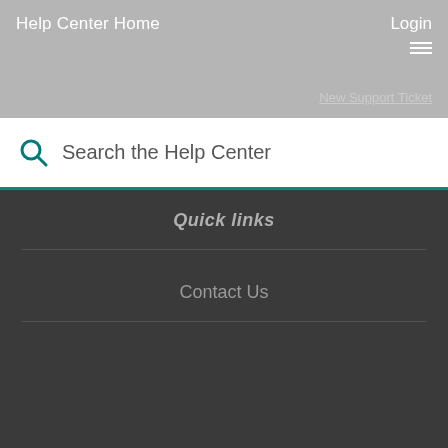Help Center Home
Login
New Support Ticket
Search the Help Center
Quick links
Contact Us